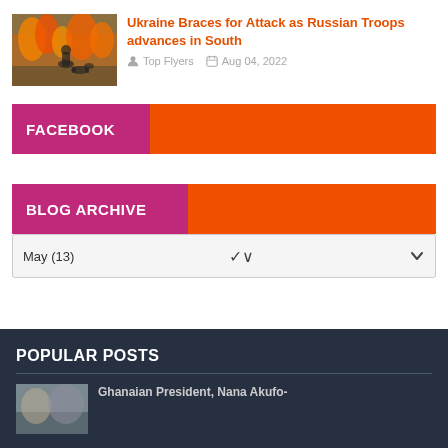[Figure (photo): Thumbnail photo of a soldier or person with fire in background for Ukraine article]
Ukraine Braces for Attack as Russian Troops advances in South
Top Flyers   Aug 04, 2022
FACEBOOK
BLOG ARCHIVE
May (13)
POPULAR POSTS
Ghanaian President, Nana Akufo-